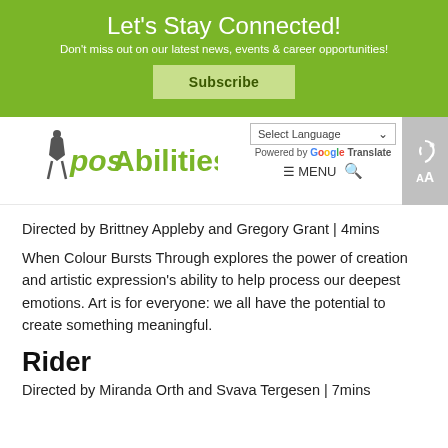Let's Stay Connected!
Don't miss out on our latest news, events & career opportunities!
Subscribe
[Figure (logo): posAbilities organization logo with green text and figure silhouette]
Select Language  Powered by Google Translate  MENU
Directed by Brittney Appleby and Gregory Grant | 4mins
When Colour Bursts Through explores the power of creation and artistic expression's ability to help process our deepest emotions. Art is for everyone: we all have the potential to create something meaningful.
Rider
Directed by Miranda Orth and Svava Tergesen | 7mins